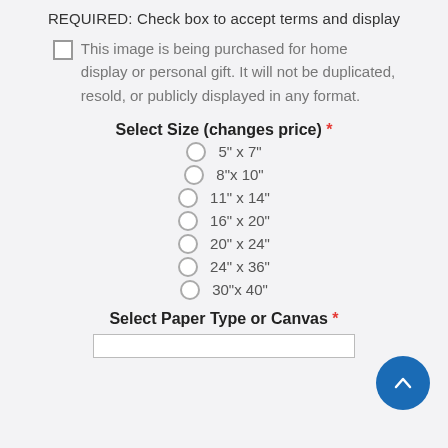REQUIRED: Check box to accept terms and display
This image is being purchased for home display or personal gift. It will not be duplicated, resold, or publicly displayed in any format.
Select Size (changes price) *
5" x 7"
8"x 10"
11" x 14"
16" x 20"
20" x 24"
24" x 36"
30"x 40"
Select Paper Type or Canvas *